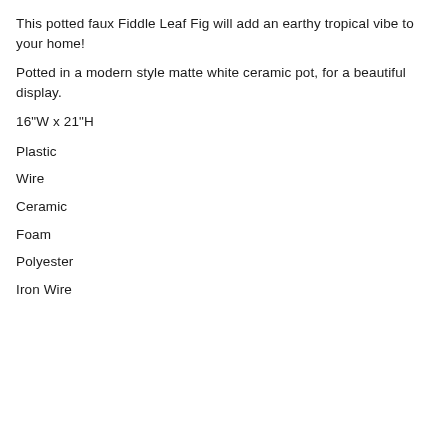This potted faux Fiddle Leaf Fig will add an earthy tropical vibe to your home!
Potted in a modern style matte white ceramic pot, for a beautiful display.
16"W x 21"H
Plastic
Wire
Ceramic
Foam
Polyester
Iron Wire